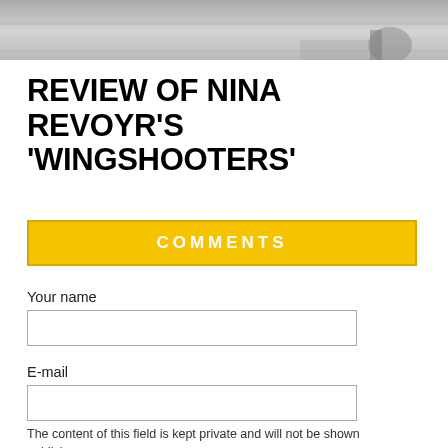[Figure (photo): Black and white photograph strip, partially visible at top of page, showing outdoor scene with water and a figure]
REVIEW OF NINA REVOYR'S 'WINGSHOOTERS'
COMMENTS
Your name
E-mail
The content of this field is kept private and will not be shown publicly.
Homepage
Comment *